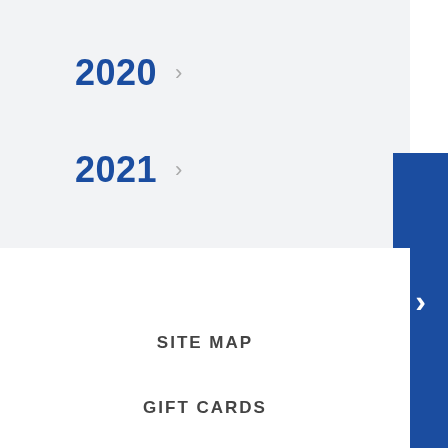2020 >
2021 >
2022 >
SITE MAP
GIFT CARDS